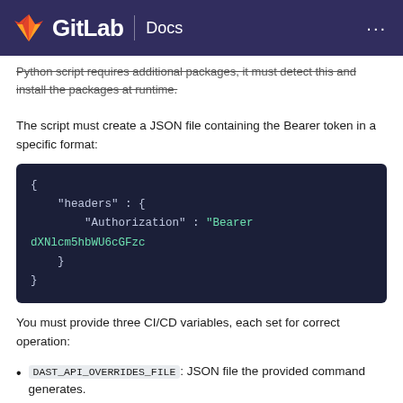GitLab Docs
Python script requires additional packages, it must detect this and install the packages at runtime.
The script must create a JSON file containing the Bearer token in a specific format:
You must provide three CI/CD variables, each set for correct operation:
DAST_API_OVERRIDES_FILE: JSON file the provided command generates.